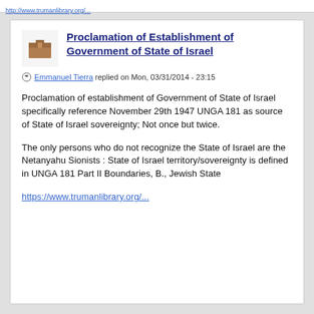http://www.trumanlibrary.org/...
Proclamation of Establishment of Government of State of Israel
Emmanuel Tierra replied on Mon, 03/31/2014 - 23:15
Proclamation of establishment of Government of State of Israel specifically reference November 29th 1947 UNGA 181 as source of State of Israel sovereignty; Not once but twice.
The only persons who do not recognize the State of Israel are the Netanyahu Sionists : State of Israel territory/sovereignty is defined in UNGA 181 Part II Boundaries, B., Jewish State
https://www.trumanlibrary.org/...